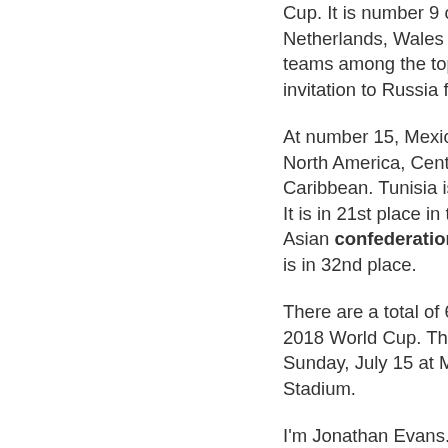Cup. It is number 9 on FIFA's list. The Netherlands, Wales and Italy are three other teams among the top 20 that failed to win an invitation to Russia for the games.
At number 15, Mexico is the top team from North America, Central America and the Caribbean. Tunisia is considered Africa's best. It is in 21st place in the world ratings. The best Asian confederation team is Australia, which is in 32nd place.
There are a total of 64 football matches at the 2018 World Cup. The final match is set for Sunday, July 15 at Moscow's Luzhniki Stadium.
I'm Jonathan Evans.
Jonathan Evans adapted this